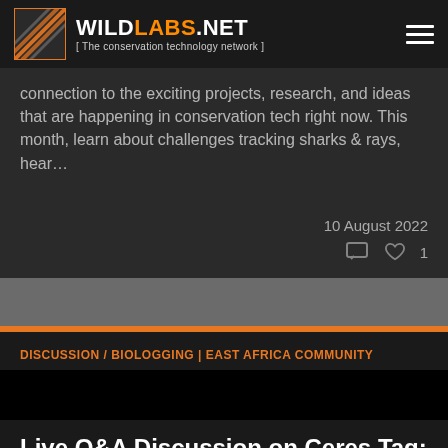WILDLABS.NET [ The conservation technology network ]
connection to the exciting projects, research, and ideas that are happening in conservation tech right now. This month, learn about challenges tracking sharks & rays, hear…
10 August 2022
♡ 1
DISCUSSION / BIOLOGGING | EAST AFRICA COMMUNITY
Live Q&A Discussion on Ceres Tag: An animal monitoring